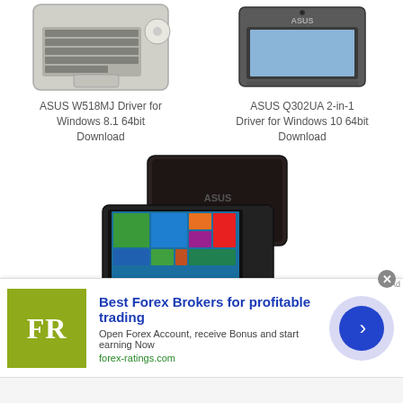[Figure (photo): ASUS W518MJ laptop seen from above, showing keyboard and disc drive]
ASUS W518MJ Driver for Windows 8.1 64bit Download
[Figure (photo): ASUS Q302UA 2-in-1 laptop, dark grey, seen from above at angle]
ASUS Q302UA 2-in-1 Driver for Windows 10 64bit Download
[Figure (photo): ASUS F751LX laptop open, showing Windows 8 start screen, and closed lid behind]
ASUS F751LX Driver for
[Figure (screenshot): Ad banner: Best Forex Brokers for profitable trading - forex-ratings.com, with FR logo and play button]